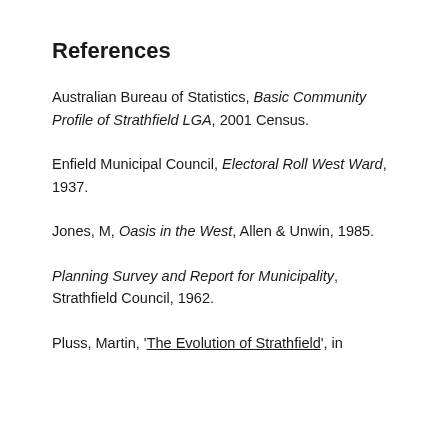References
Australian Bureau of Statistics, Basic Community Profile of Strathfield LGA, 2001 Census.
Enfield Municipal Council, Electoral Roll West Ward, 1937.
Jones, M, Oasis in the West, Allen & Unwin, 1985.
Planning Survey and Report for Municipality, Strathfield Council, 1962.
Pluss, Martin, 'The Evolution of Strathfield', in